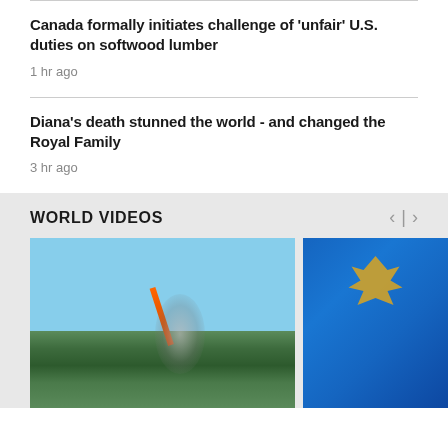Canada formally initiates challenge of 'unfair' U.S. duties on softwood lumber
1 hr ago
Diana's death stunned the world - and changed the Royal Family
3 hr ago
WORLD VIDEOS
[Figure (photo): Missile launch with smoke trail against blue sky, hillside in foreground]
[Figure (photo): Blue flag with eagle emblem]